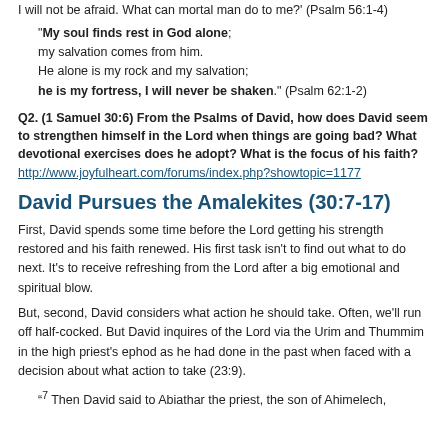I will not be afraid. What can mortal man do to me?' (Psalm 56:1-4)
"My soul finds rest in God alone; my salvation comes from him. He alone is my rock and my salvation; he is my fortress, I will never be shaken." (Psalm 62:1-2)
Q2. (1 Samuel 30:6) From the Psalms of David, how does David seem to strengthen himself in the Lord when things are going bad? What devotional exercises does he adopt? What is the focus of his faith?
http://www.joyfulheart.com/forums/index.php?showtopic=1177
David Pursues the Amalekites (30:7-17)
First, David spends some time before the Lord getting his strength restored and his faith renewed. His first task isn't to find out what to do next. It's to receive refreshing from the Lord after a big emotional and spiritual blow.
But, second, David considers what action he should take. Often, we'll run off half-cocked. But David inquires of the Lord via the Urim and Thummim in the high priest's ephod as he had done in the past when faced with a decision about what action to take (23:9).
“⁷ Then David said to Abiathar the priest, the son of Ahimelech,